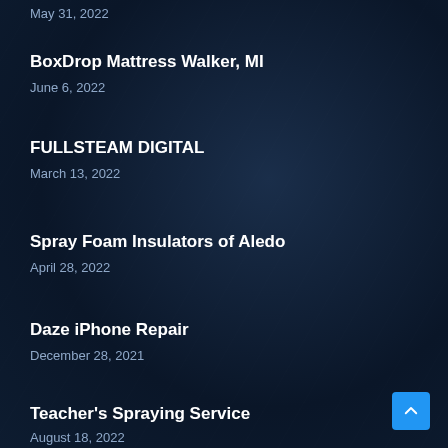May 31, 2022
BoxDrop Mattress Walker, MI
June 6, 2022
FULLSTEAM DIGITAL
March 13, 2022
Spray Foam Insulators of Aledo
April 28, 2022
Daze iPhone Repair
December 28, 2021
Teacher's Spraying Service
August 18, 2022